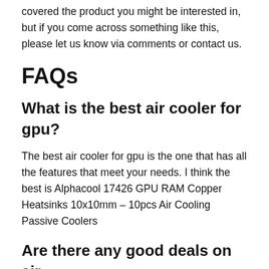covered the product you might be interested in, but if you come across something like this, please let us know via comments or contact us.
FAQs
What is the best air cooler for gpu?
The best air cooler for gpu is the one that has all the features that meet your needs. I think the best is Alphacool 17426 GPU RAM Copper Heatsinks 10x10mm – 10pcs Air Cooling Passive Coolers
Are there any good deals on air